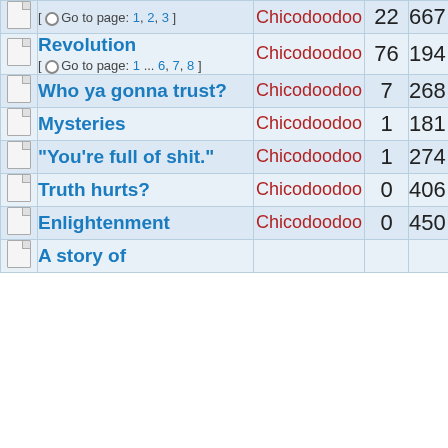|  | Topic | Author | Replies | Views |
| --- | --- | --- | --- | --- |
|  | [ • Go to page: 1, 2, 3 ] | Chicodoodoo | 22 | 667 |
|  | Revolution
[ • Go to page: 1 ... 6, 7, 8 ] | Chicodoodoo | 76 | 194 |
|  | Who ya gonna trust? | Chicodoodoo | 7 | 268 |
|  | Mysteries | Chicodoodoo | 1 | 181 |
|  | "You're full of shit." | Chicodoodoo | 1 | 274 |
|  | Truth hurts? | Chicodoodoo | 0 | 406 |
|  | Enlightenment | Chicodoodoo | 0 | 450 |
|  | A story of... | Chicodoodoo |  |  |